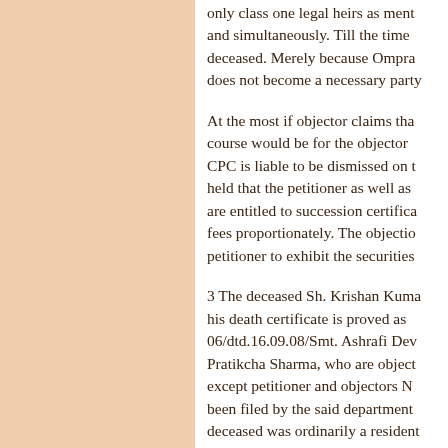only class one legal heirs as mentioned and simultaneously. Till the time deceased. Merely because Ompra does not become a necessary party
At the most if objector claims tha course would be for the objector CPC is liable to be dismissed on t held that the petitioner as well as are entitled to succession certifica fees proportionately. The objectio petitioner to exhibit the securities
3 The deceased Sh. Krishan Kuma his death certificate is proved as 06/dtd.16.09.08/Smt. Ashrafi Dev Pratikcha Sharma, who are object except petitioner and objectors N been filed by the said department deceased was ordinarily a resident